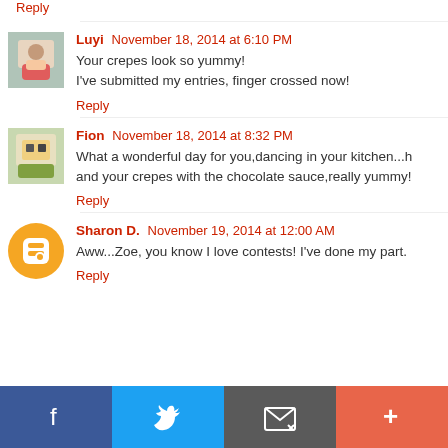Reply
Luyi  November 18, 2014 at 6:10 PM
Your crepes look so yummy!
I've submitted my entries, finger crossed now!
Reply
Fion  November 18, 2014 at 8:32 PM
What a wonderful day for you,dancing in your kitchen...h and your crepes with the chocolate sauce,really yummy!
Reply
Sharon D.  November 19, 2014 at 12:00 AM
Aww...Zoe, you know I love contests! I've done my part.
Reply